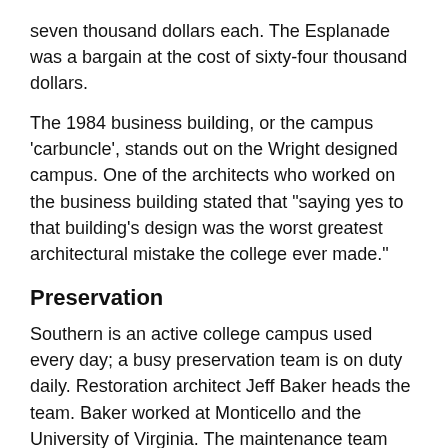seven thousand dollars each. The Esplanade was a bargain at the cost of sixty-four thousand dollars.
The 1984 business building, or the campus ‘carbuncle’, stands out on the Wright designed campus. One of the architects who worked on the business building stated that “saying yes to that building’s design was the worst greatest architectural mistake the college ever made.”
Preservation
Southern is an active college campus used every day; a busy preservation team is on duty daily. Restoration architect Jeff Baker heads the team. Baker worked at Monticello and the University of Virginia. The maintenance team cannot touch a building without the preservation architect’s ok.
Campus tour
Architectural tours of the campus are available through